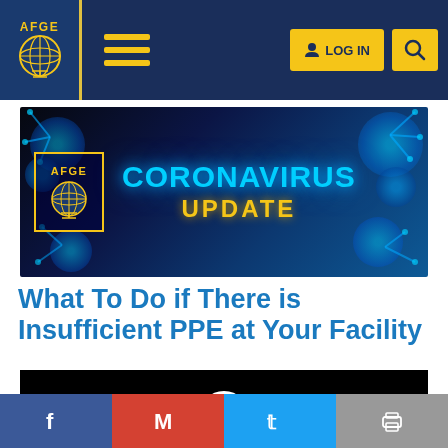AFGE — LOG IN navigation bar
[Figure (infographic): AFGE Coronavirus Update banner with glowing blue virus particles and AFGE logo on dark blue background]
What To Do if There is Insufficient PPE at Your Facility
[Figure (screenshot): Black video player area with white circular play button]
Social share buttons: Facebook, Gmail, Twitter, Print